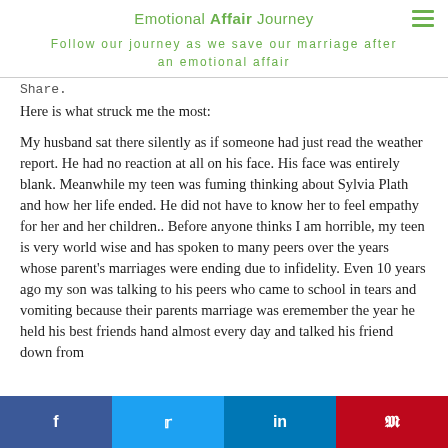Emotional Affair Journey
Follow our journey as we save our marriage after an emotional affair
Share.
Here is what struck me the most:
My husband sat there silently as if someone had just read the weather report. He had no reaction at all on his face. His face was entirely blank. Meanwhile my teen was fuming thinking about Sylvia Plath and how her life ended. He did not have to know her to feel empathy for her and her children.. Before anyone thinks I am horrible, my teen is very world wise and has spoken to many peers over the years whose parent's marriages were ending due to infidelity. Even 10 years ago my son was talking to his peers who came to school in tears and vomiting because their parents marriage was e...remember the year he held his best friends hand almost every day and talked his friend down from